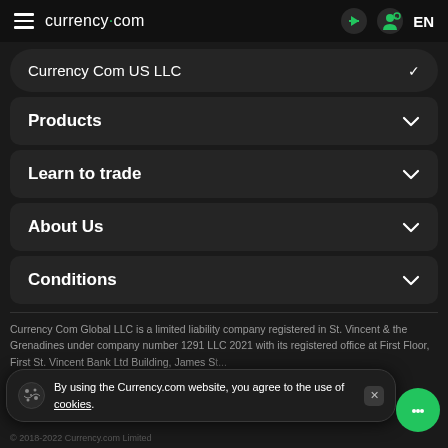currency.com | EN
Currency Com US LLC
Products
Learn to trade
About Us
Conditions
Currency Com Global LLC is a limited liability company registered in St. Vincent & the Grenadines under company number 1291 LLC 2021 with its registered office at First Floor, First St. Vincent Bank Ltd Building, James St...
By using the Currency.com website, you agree to the use of cookies.
© 2018-2022 Currency.com Limited